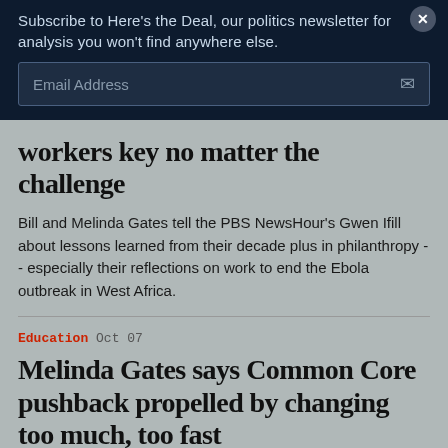Subscribe to Here's the Deal, our politics newsletter for analysis you won't find anywhere else.
Email Address
workers key no matter the challenge
Bill and Melinda Gates tell the PBS NewsHour's Gwen Ifill about lessons learned from their decade plus in philanthropy -- especially their reflections on work to end the Ebola outbreak in West Africa.
Education  Oct 07
Melinda Gates says Common Core pushback propelled by changing too much, too fast